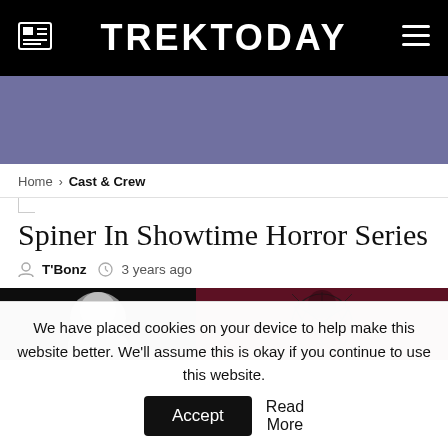TREKTODAY
[Figure (other): Purple/blue advertisement banner area]
Home > Cast & Crew
Spiner In Showtime Horror Series
T'Bonz  3 years ago
[Figure (photo): Two photos side by side: left is a black and white photo of a man, right is a dark red photo of a figure with ornate spider web face makeup]
We have placed cookies on your device to help make this website better. We'll assume this is okay if you continue to use this website.  Accept  Read More